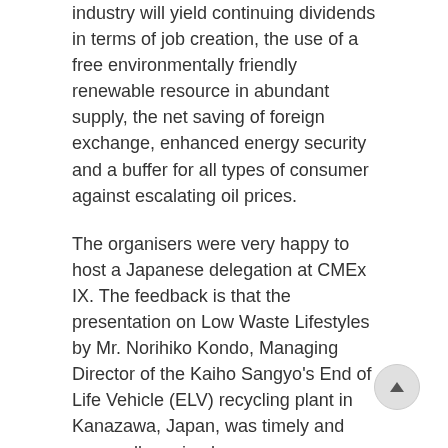industry will yield continuing dividends in terms of job creation, the use of a free environmentally friendly renewable resource in abundant supply, the net saving of foreign exchange, enhanced energy security and a buffer for all types of consumer against escalating oil prices.
The organisers were very happy to host a Japanese delegation at CMEx IX. The feedback is that the presentation on Low Waste Lifestyles by Mr. Norihiko Kondo, Managing Director of the Kaiho Sangyo's End of Life Vehicle (ELV) recycling plant in Kanazawa, Japan, was timely and very well received.
Mr Kondo has a vision to spread his company's concept through the world with the support of the United Nations. In the Barbados leg of his trip the delegation, facilitated by CBET, explored the possibility of the government, private sector and UN collaborating to mount the Second International Conference on Automobile Recycling in Barbados in 2007, the establishment of a Research and Training Centre in the Caribbean and a Private Sector led initiative to establish a recycling business in the Caribbean, in partnership with Mr.